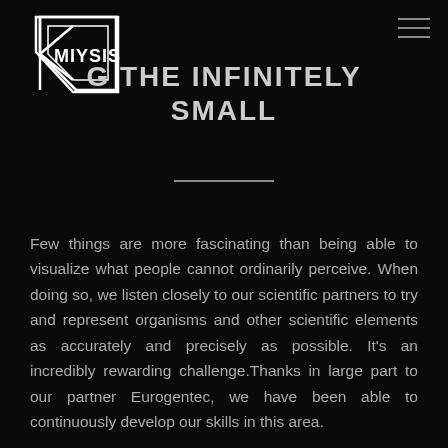[Figure (logo): Miysis logo — triangular arrow shape with text MIYSIS in white on black background]
G THE INFINITELY SMALL
Few things are more fascinating than being able to visualize what people cannot ordinarily perceive. When doing so, we listen closely to our scientific partners to try and represent organisms and other scientific elements as accurately and precisely as possible. It's an incredibly rewarding challenge.Thanks in large part to our partner Eurogentec, we have been able to continuously develop our skills in this area.